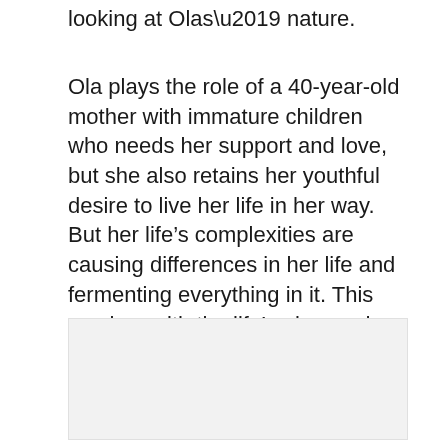looking at Olas’ nature.
Ola plays the role of a 40-year-old mother with immature children who needs her support and love, but she also retains her youthful desire to live her life in her way. But her life’s complexities are causing differences in her life and fermenting everything in it. This meshes with the life’s play, and viewers look upon it with negativity, which will call upon the film’s directors.
[Figure (other): Light gray rectangular image placeholder area]